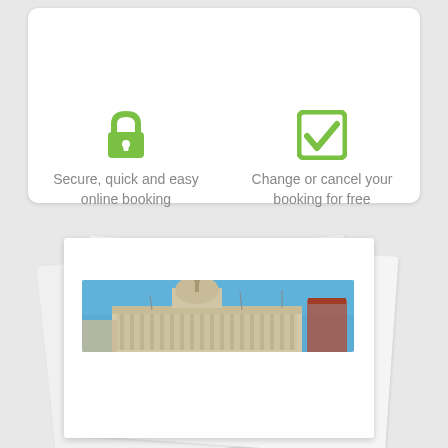[Figure (infographic): White card panel with two feature icons and text: a green padlock icon with 'Secure, quick and easy online booking' and a green checkbox icon with 'Change or cancel your booking for free']
Secure, quick and easy online booking
Change or cancel your booking for free
[Figure (photo): Stack of white paper sheets with a panoramic photo of a classical building with dome against a blue sky, embedded on the top sheet]